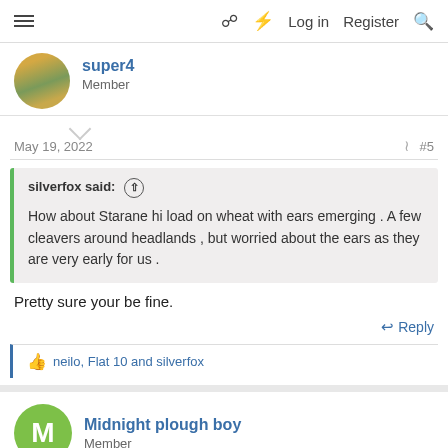≡  □ ⚡ Log in  Register  🔍
super4
Member
May 19, 2022  #5
silverfox said: ↑
How about Starane hi load on wheat with ears emerging . A few cleavers around headlands , but worried about the ears as they are very early for us .
Pretty sure your be fine.
↩ Reply
👍 neilo, Flat 10 and silverfox
Midnight plough boy
Member